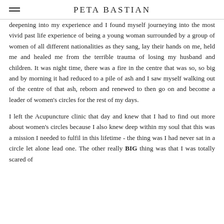PETA BASTIAN
deepening into my experience and I found myself journeying into the most vivid past life experience of being a young woman surrounded by a group of women of all different nationalities as they sang, lay their hands on me, held me and healed me from the terrible trauma of losing my husband and children. It was night time, there was a fire in the centre that was so, so big and by morning it had reduced to a pile of ash and I saw myself walking out of the centre of that ash, reborn and renewed to then go on and become a leader of women's circles for the rest of my days.
I left the Acupuncture clinic that day and knew that I had to find out more about women's circles because I also knew deep within my soul that this was a mission I needed to fulfil in this lifetime - the thing was I had never sat in a circle let alone lead one. The other really BIG thing was that I was totally scared of